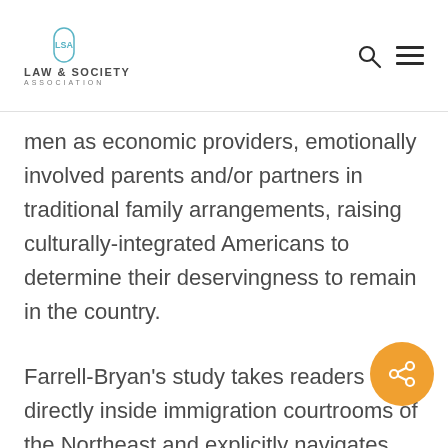LAW & SOCIETY ASSOCIATION
men as economic providers, emotionally involved parents and/or partners in traditional family arrangements, raising culturally-integrated Americans to determine their deservingness to remain in the country.
Farrell-Bryan’s study takes readers directly inside immigration courtrooms of the Northeast and explicitly navigates through the fine details of full removal hearings she sat in on and observed. Her article consists of ethnographic